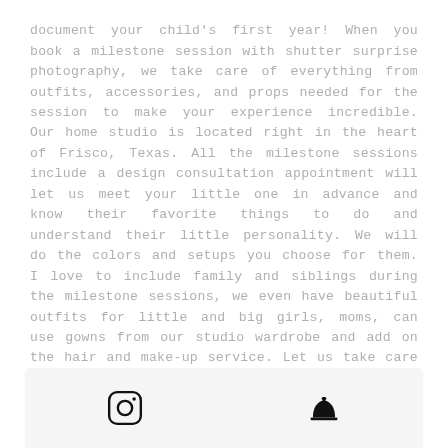document your child's first year! When you book a milestone session with shutter surprise photography, we take care of everything from outfits, accessories, and props needed for the session to make your experience incredible. Our home studio is located right in the heart of Frisco, Texas. All the milestone sessions include a design consultation appointment will let us meet your little one in advance and know their favorite things to do and understand their little personality. We will do the colors and setups you choose for them. I love to include family and siblings during the milestone sessions, we even have beautiful outfits for little and big girls, moms, can use gowns from our studio wardrobe and add on the hair and make-up service. Let us take care of everything while you sit back and enjoy the whole experience.
[Figure (other): Footer bar with Instagram icon and a concierge bell icon]